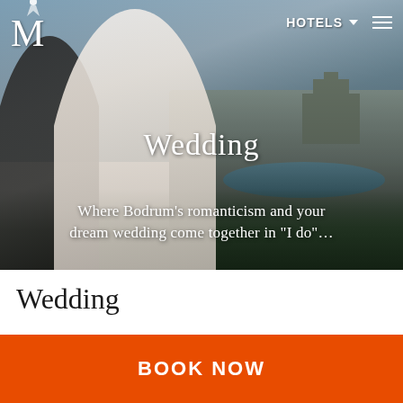[Figure (photo): Wedding photo with bride and groom in foreground against a scenic Bodrum cityscape backdrop with sea and castle in the background. Navigation bar with logo M and HOTELS link overlaid on top.]
Wedding
Where Bodrum’s romanticism and your dream wedding come together in “I do”…
Wedding
BOOK NOW